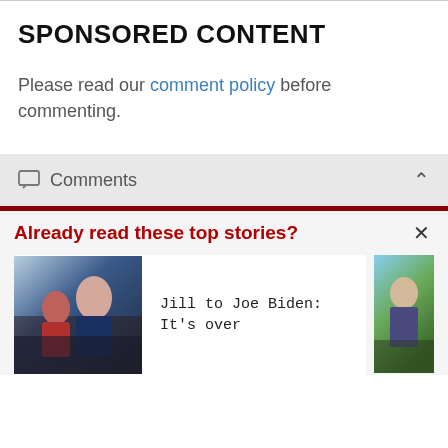SPONSORED CONTENT
Please read our comment policy before commenting.
Comments
Already read these top stories?
Jill to Joe Biden: It's over